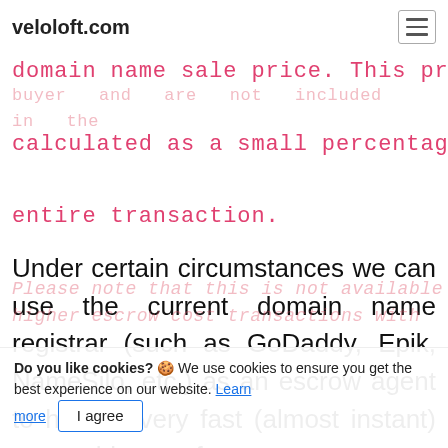veloloft.com
The escrow services must be paid by the buyer and are not included in the domain name sale price. This price is calculated as a small percentage of the entire transaction.
Under certain circumstances we can use the current domain name registrar (such as GoDaddy, Epik, NameSilo, etc.) as an escrow agent to have a very fast (almost instant) ownership transfer.
Please note that this is not available for all higher escrow cost transactions with
Do you like cookies? 🍪 We use cookies to ensure you get the best experience on our website. Learn more  I agree